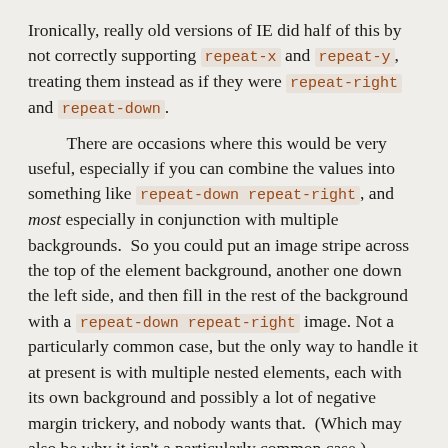Ironically, really old versions of IE did half of this by not correctly supporting repeat-x and repeat-y, treating them instead as if they were repeat-right and repeat-down.
There are occasions where this would be very useful, especially if you can combine the values into something like repeat-down repeat-right, and most especially in conjunction with multiple backgrounds. So you could put an image stripe across the top of the element background, another one down the left side, and then fill in the rest of the background with a repeat-down repeat-right image. Not a particularly common case, but the only way to handle it at present is with multiple nested elements, each with its own background and possibly a lot of negative margin trickery, and nobody wants that. (Which may also be why it isn't a particularly common case.)
You could also put an image in the center of your page and then a single stripe that goes only downward from behind it. Like a golf ball on a tee, say; or a tree trunk below the leafy